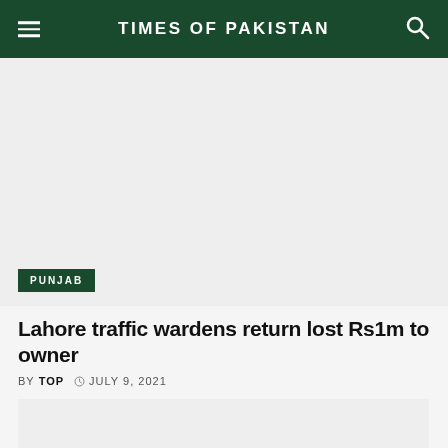TIMES OF PAKISTAN
[Figure (photo): Hero image placeholder with PUNJAB category badge overlay]
Lahore traffic wardens return lost Rs1m to owner
BY TOP  JULY 9, 2021
[Figure (photo): Secondary article image placeholder]